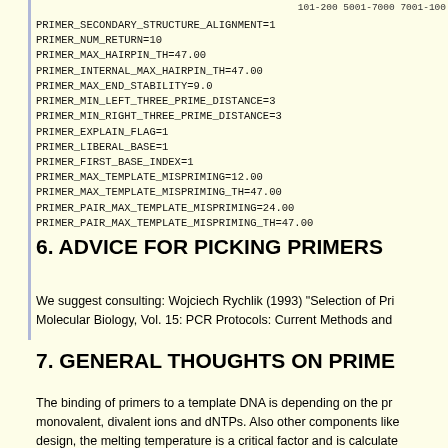101-200 5001-7000 7001-100
PRIMER_SECONDARY_STRUCTURE_ALIGNMENT=1
PRIMER_NUM_RETURN=10
PRIMER_MAX_HAIRPIN_TH=47.00
PRIMER_INTERNAL_MAX_HAIRPIN_TH=47.00
PRIMER_MAX_END_STABILITY=9.0
PRIMER_MIN_LEFT_THREE_PRIME_DISTANCE=3
PRIMER_MIN_RIGHT_THREE_PRIME_DISTANCE=3
PRIMER_EXPLAIN_FLAG=1
PRIMER_LIBERAL_BASE=1
PRIMER_FIRST_BASE_INDEX=1
PRIMER_MAX_TEMPLATE_MISPRIMING=12.00
PRIMER_MAX_TEMPLATE_MISPRIMING_TH=47.00
PRIMER_PAIR_MAX_TEMPLATE_MISPRIMING=24.00
PRIMER_PAIR_MAX_TEMPLATE_MISPRIMING_TH=47.00
6. ADVICE FOR PICKING PRIMERS
We suggest consulting: Wojciech Rychlik (1993) "Selection of Pri Molecular Biology, Vol. 15: PCR Protocols: Current Methods and
7. GENERAL THOUGHTS ON PRIME
The binding of primers to a template DNA is depending on the pr monovalent, divalent ions and dNTPs. Also other components like design, the melting temperature is a critical factor and is calculate